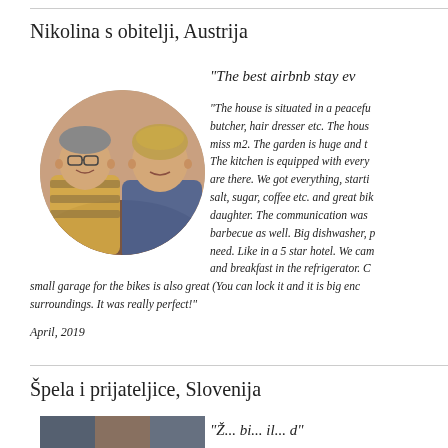Nikolina s obitelji, Austrija
"The best airbnb stay ev
[Figure (photo): Circular photo of a couple, man with glasses and woman, smiling together]
"The house is situated in a peacefu, butcher, hair dresser etc. The hous, miss m2. The garden is huge and t, The kitchen is equipped with every, are there. We got everything, starti, salt, sugar, coffee etc. and great bik, daughter. The communication was, barbecue as well. Big dishwasher, p, need. Like in a 5 star hotel. We cam, and breakfast in the refrigerator. C
small garage for the bikes is also great (You can lock it and it is big enc, surroundings. It was really perfect!"
April, 2019
Špela i prijateljice, Slovenija
[Figure (photo): Partial photo of a group at the bottom of the page]
"Ž... bi... il... d"